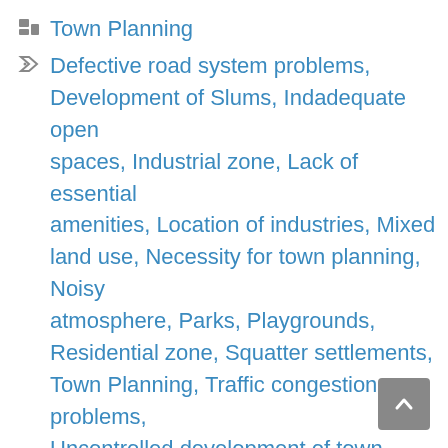Town Planning
Defective road system problems, Development of Slums, Indadequate open spaces, Industrial zone, Lack of essential amenities, Location of industries, Mixed land use, Necessity for town planning, Noisy atmosphere, Parks, Playgrounds, Residential zone, Squatter settlements, Town Planning, Traffic congestion problems, Uncontrolled development of town, Unhealthy living conditions in a town, Urban Design, Urban planning, What is commercial zone, What is industrial zone, What is mixed use, Where should the industries be located, Zoning